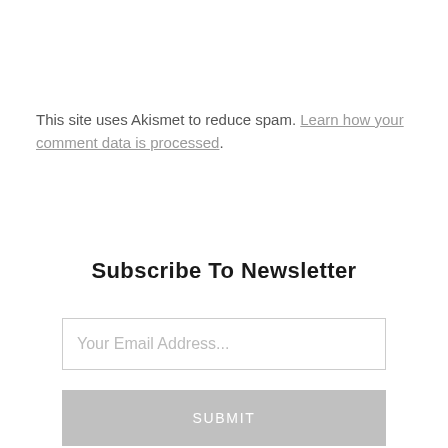This site uses Akismet to reduce spam. Learn how your comment data is processed.
Subscribe To Newsletter
Your Email Address...
SUBMIT